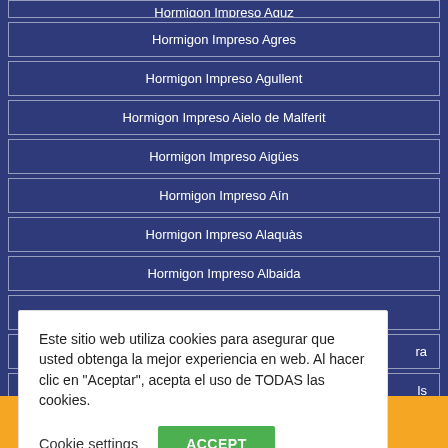Hormigon Impreso Agres
Hormigon Impreso Agullent
Hormigon Impreso Aielo de Malferit
Hormigon Impreso Aigües
Hormigon Impreso Aín
Hormigon Impreso Alaquàs
Hormigon Impreso Albaida
Este sitio web utiliza cookies para asegurar que usted obtenga la mejor experiencia en web. Al hacer clic en "Aceptar", acepta el uso de TODAS las cookies.
Cookie settings  ACCEPT
¡Llámenos! 666 036 981